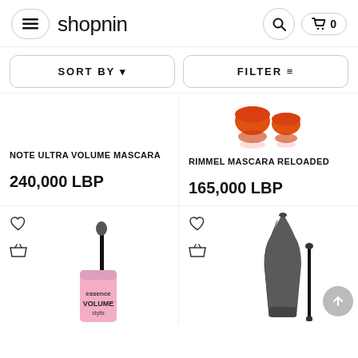shopnin
SORT BY
FILTER
NOTE ULTRA VOLUME MASCARA
240,000 LBP
[Figure (photo): Rimmel mascara reloaded - two red/orange mascara caps]
RIMMEL MASCARA RELOADED
165,000 LBP
[Figure (photo): Essence volume stylist mascara pink tube with wand]
[Figure (photo): Dark gray mascara tube and wand product]